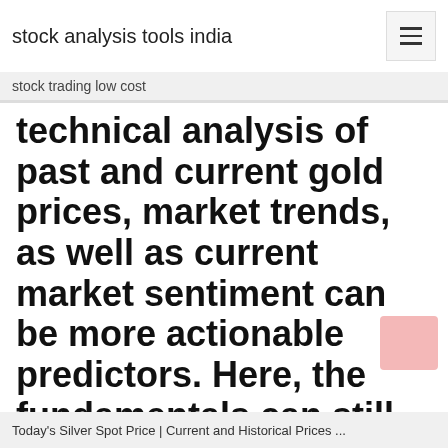stock analysis tools india
stock trading low cost
technical analysis of past and current gold prices, market trends, as well as current market sentiment can be more actionable predictors. Here, the fundamentals can still play a role but generally serve more as background details.
Today's Silver Spot Price | Current and Historical Prices ...